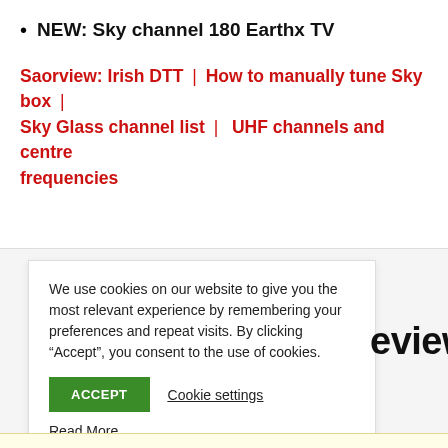NEW: Sky channel 180 Earthx TV
Saorview: Irish DTT | How to manually tune Sky box | Sky Glass channel list | UHF channels and centre frequencies
We use cookies on our website to give you the most relevant experience by remembering your preferences and repeat visits. By clicking “Accept”, you consent to the use of cookies.
ACCEPT   Cookie settings   Read More